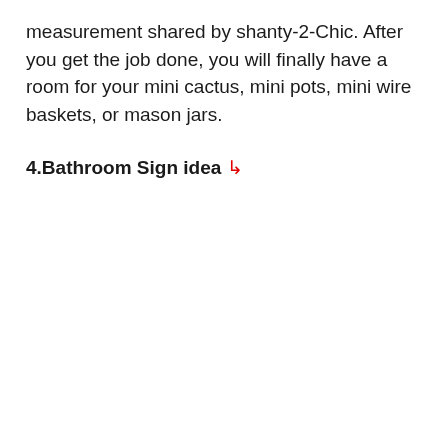measurement shared by shanty-2-Chic. After you get the job done, you will finally have a room for your mini cactus, mini pots, mini wire baskets, or mason jars.
4.Bathroom Sign idea ↳